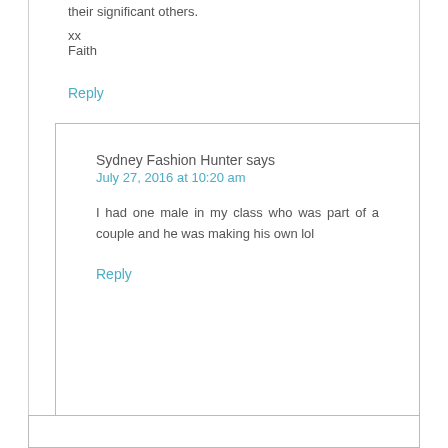their significant others.
xx
Faith
Reply
Sydney Fashion Hunter says
July 27, 2016 at 10:20 am
I had one male in my class who was part of a couple and he was making his own lol
Reply